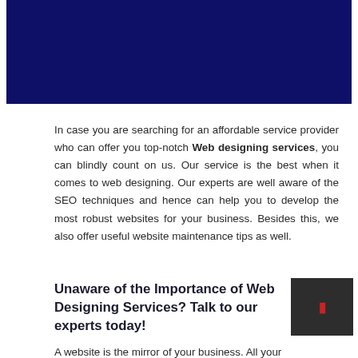[Figure (other): Dark navy blue banner/header image at the top of the page]
In case you are searching for an affordable service provider who can offer you top-notch Web designing services, you can blindly count on us. Our service is the best when it comes to web designing. Our experts are well aware of the SEO techniques and hence can help you to develop the most robust websites for your business. Besides this, we also offer useful website maintenance tips as well.
Unaware of the Importance of Web Designing Services? Talk to our experts today!
A website is the mirror of your business. All your